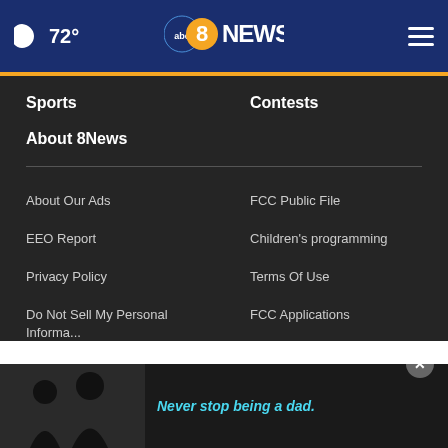🌙 72° | abc8NEWS | ☰
Sports
Contests
About 8News
About Our Ads
FCC Public File
EEO Report
Children's programming
Privacy Policy
Terms Of Use
Do Not Sell My Personal Informa...
FCC Applications
[Figure (illustration): Advertisement banner with photo of adult and child, text: Never stop being a dad.]